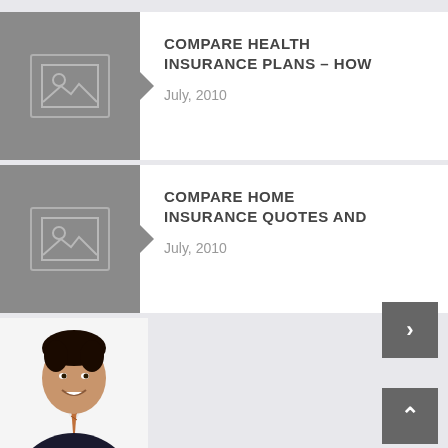[Figure (screenshot): Article card with grey placeholder image thumbnail and notch arrow, titled COMPARE HEALTH INSURANCE PLANS – HOW, dated July, 2010]
COMPARE HEALTH INSURANCE PLANS – HOW
July, 2010
[Figure (screenshot): Article card with grey placeholder image thumbnail and notch arrow, titled COMPARE HOME INSURANCE QUOTES AND, dated July, 2010]
COMPARE HOME INSURANCE QUOTES AND
July, 2010
[Figure (photo): Photo of a smiling Asian man in a dark suit with a striped tie, cropped at the bottom of the page]
[Figure (other): Dark grey navigation button with right-pointing chevron (next)]
[Figure (other): Dark grey navigation button with upward-pointing chevron (scroll to top)]